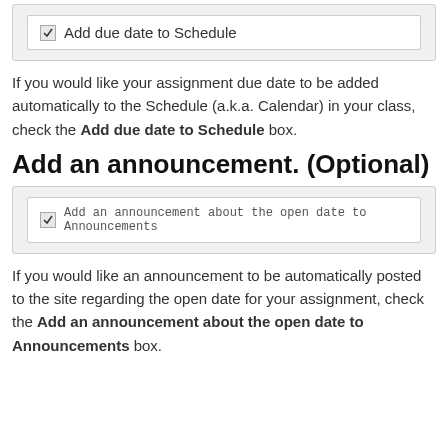[Figure (screenshot): Checkbox UI element with checkmark and label 'Add due date to Schedule']
If you would like your assignment due date to be added automatically to the Schedule (a.k.a. Calendar) in your class, check the Add due date to Schedule box.
Add an announcement. (Optional)
[Figure (screenshot): Checkbox UI element with checkmark and label 'Add an announcement about the open date to Announcements']
If you would like an announcement to be automatically posted to the site regarding the open date for your assignment, check the Add an announcement about the open date to Announcements box.